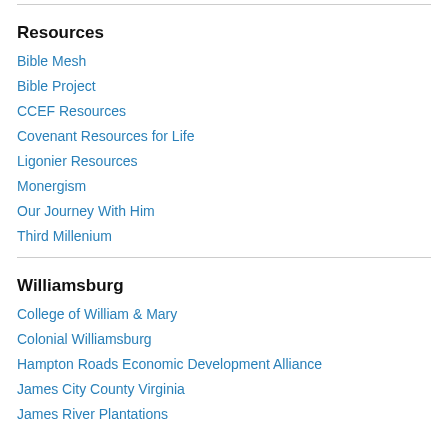Resources
Bible Mesh
Bible Project
CCEF Resources
Covenant Resources for Life
Ligonier Resources
Monergism
Our Journey With Him
Third Millenium
Williamsburg
College of William & Mary
Colonial Williamsburg
Hampton Roads Economic Development Alliance
James City County Virginia
James River Plantations